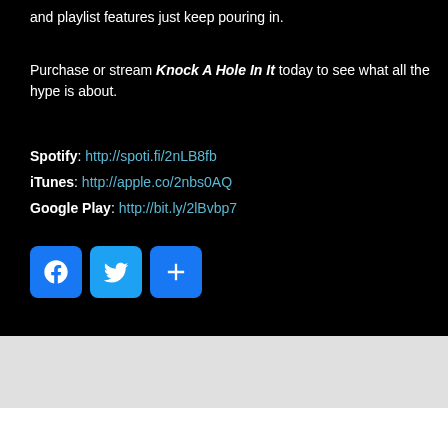and playlist features just keep pouring in.
Purchase or stream Knock A Hole In It today to see what all the hype is about.
Spotify: http://spoti.fi/2nLB8fb
iTunes: http://apple.co/2nbs0AQ
Google Play: http://bit.ly/2lBvbp7
[Figure (other): Social sharing buttons: Facebook, Twitter, and a share/plus button]